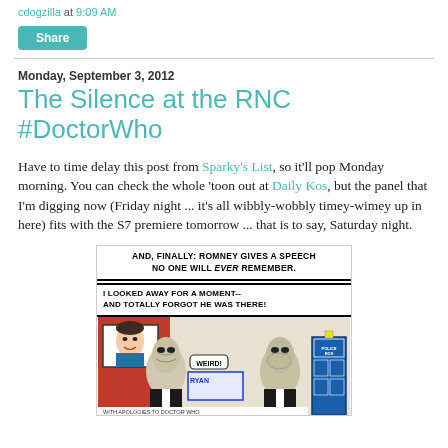cdogzilla at 9:09 AM
Share
Monday, September 3, 2012
The Silence at the RNC #DoctorWho
Have to time delay this post from Sparky's List, so it'll pop Monday morning. You can check the whole 'toon out at Daily Kos, but the panel that I'm digging now (Friday night ... it's all wibbly-wobbly timey-wimey up in here) fits with the S7 premiere tomorrow ... that is to say, Saturday night.
[Figure (illustration): Comic panel showing two alien Silence figures in suits, with a TV screen showing Romney and a TARDIS in the background. Top speech bubble: 'AND, FINALLY: ROMNEY GIVES A SPEECH NO ONE WILL EVER REMEMBER.' Middle speech bubble: 'I LOOKED AWAY FOR A MOMENT-- AND TOTALLY FORGOT HE WAS THERE!' with a smaller bubble 'WEIRD!' between the aliens. Bottom text reads 'WITH APOLOGIES TO DOCTOR WHO'.]